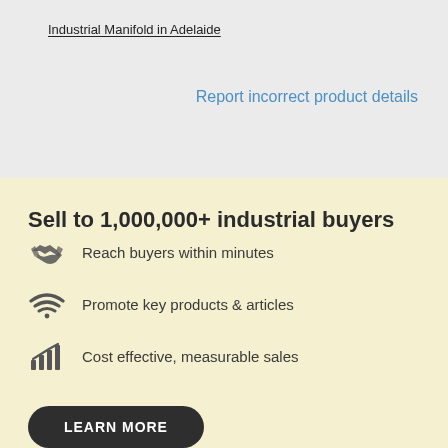Industrial Manifold in Adelaide
Report incorrect product details
Sell to 1,000,000+ industrial buyers
Reach buyers within minutes
Promote key products & articles
Cost effective, measurable sales
LEARN MORE